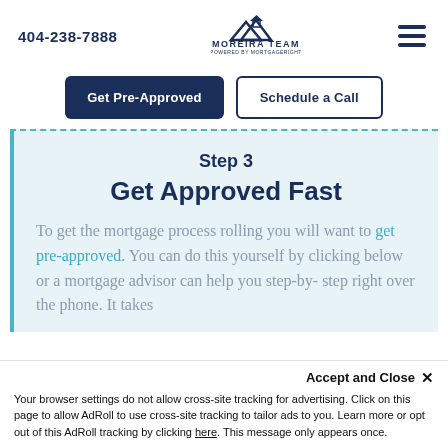404-238-7888
[Figure (logo): Moreira Team powered by MortgageRight logo with house/mountain icon]
Get Pre-Approved | Schedule a Call
Step 3
Get Approved Fast
To get the mortgage process rolling you will want to get pre-approved. You can do this yourself by clicking below or a mortgage advisor can help you step-by-step right over the phone. It takes
Accept and Close ✕ Your browser settings do not allow cross-site tracking for advertising. Click on this page to allow AdRoll to use cross-site tracking to tailor ads to you. Learn more or opt out of this AdRoll tracking by clicking here. This message only appears once.